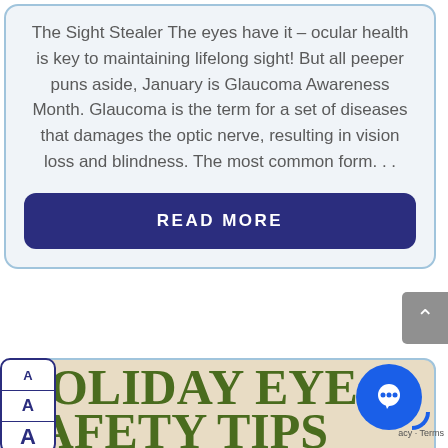The Sight Stealer The eyes have it – ocular health is key to maintaining lifelong sight! But all peeper puns aside, January is Glaucoma Awareness Month. Glaucoma is the term for a set of diseases that damages the optic nerve, resulting in vision loss and blindness. The most common form…
READ MORE
[Figure (screenshot): Scroll-to-top button (grey arrow pointing up) on right edge]
[Figure (illustration): Holiday Eye Safety Tips article card with beige/tan background and dark olive green bold serif text reading HOLIDAY EYE SAFETY TIPS]
[Figure (screenshot): Font size panel with three 'A' buttons (small, medium, large) in dark navy border on left side]
[Figure (screenshot): Blue circular chat bubble icon bottom right corner]
acy · Terms